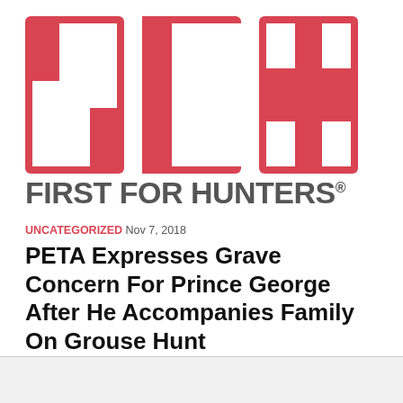[Figure (logo): SCI (Safari Club International) logo — large red block letters 'SCI' on white background]
FIRST FOR HUNTERS®
UNCATEGORIZED Nov 7, 2018
PETA Expresses Grave Concern For Prince George After He Accompanies Family On Grouse Hunt